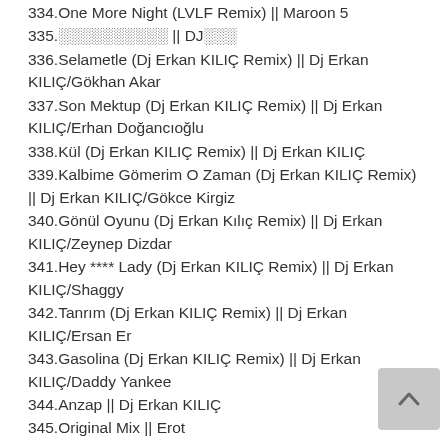334.One More Night (LVLF Remix) || Maroon 5
335.░░░░░░░░░░ || DJ░░░
336.Selametle (Dj Erkan KILIÇ Remix) || Dj Erkan KILIÇ/Gökhan Akar
337.Son Mektup (Dj Erkan KILIÇ Remix) || Dj Erkan KILIÇ/Erhan Doğancıoğlu
338.Kül (Dj Erkan KILIÇ Remix) || Dj Erkan KILIÇ
339.Kalbime Gömerim O Zaman (Dj Erkan KILIÇ Remix) || Dj Erkan KILIÇ/Gökce Kirgiz
340.Gönül Oyunu (Dj Erkan Kılıç Remix) || Dj Erkan KILIÇ/Zeynep Dizdar
341.Hey **** Lady (Dj Erkan KILIÇ Remix) || Dj Erkan KILIÇ/Shaggy
342.Tanrım (Dj Erkan KILIÇ Remix) || Dj Erkan KILIÇ/Ersan Er
343.Gasolina (Dj Erkan KILIÇ Remix) || Dj Erkan KILIÇ/Daddy Yankee
344.Anzap || Dj Erkan KILIÇ
345.Original Mix || Erot